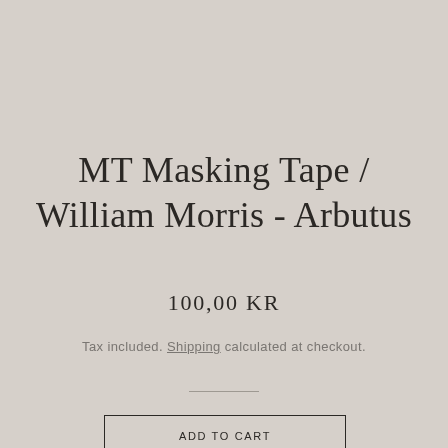MT Masking Tape / William Morris - Arbutus
100,00 KR
Tax included. Shipping calculated at checkout.
ADD TO CART